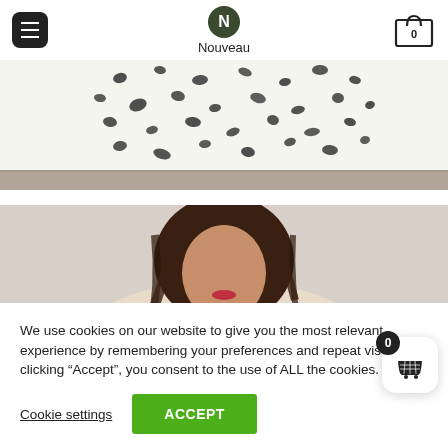N Nouveau
[Figure (photo): Close-up photo of a white fabric with black polka dot / dalmatian spot pattern, cropped so only the lower portion of a garment is visible against a grey tiled floor background.]
[Figure (photo): Photo of a woman with short brown hair, wearing a cream/beige ribbed knit sweater, looking downward. She appears to be carrying a tan/brown bag. The background is plain light-colored.]
We use cookies on our website to give you the most relevant experience by remembering your preferences and repeat visits. By clicking “Accept”, you consent to the use of ALL the cookies.
Cookie settings
ACCEPT